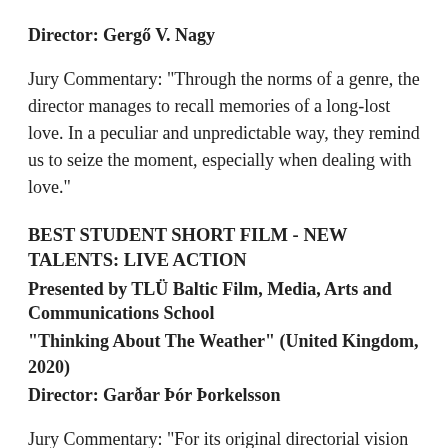Director: Gergő V. Nagy
Jury Commentary: "Through the norms of a genre, the director manages to recall memories of a long-lost love. In a peculiar and unpredictable way, they remind us to seize the moment, especially when dealing with love."
BEST STUDENT SHORT FILM - NEW TALENTS: LIVE ACTION
Presented by TLÜ Baltic Film, Media, Arts and Communications School
"Thinking About The Weather" (United Kingdom, 2020)
Director: Garðar Þór Þorkelsson
Jury Commentary: “For its original directorial vision and boldly confident approach. We are inspired by the charming, humorous and poetic way the film is documenting the environmental crisis